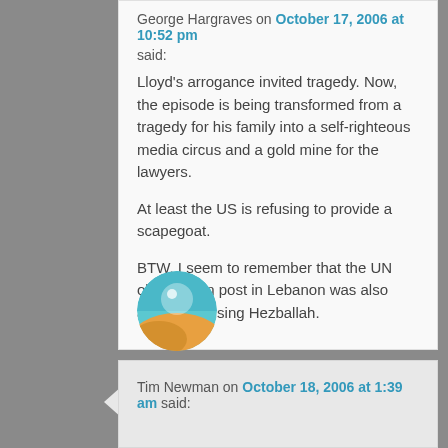George Hargraves on October 17, 2006 at 10:52 pm
said:
Lloyd's arrogance invited tragedy. Now, the episode is being transformed from a tragedy for his family into a self-righteous media circus and a gold mine for the lawyers.

At least the US is refusing to provide a scapegoat.

BTW, I seem to remember that the UN observation post in Lebanon was also actually housing Hezballah.
[Figure (illustration): Circular avatar image showing a landscape with teal/blue sky, sandy desert terrain, and a shiny sphere reflection element]
Tim Newman on October 18, 2006 at 1:39 am said: